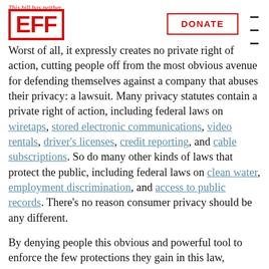EFF | DONATE | This bill has neither.
Worst of all, it expressly creates no private right of action, cutting people off from the most obvious avenue for defending themselves against a company that abuses their privacy: a lawsuit. Many privacy statutes contain a private right of action, including federal laws on wiretaps, stored electronic communications, video rentals, driver's licenses, credit reporting, and cable subscriptions. So do many other kinds of laws that protect the public, including federal laws on clean water, employment discrimination, and access to public records. There's no reason consumer privacy should be any different.
By denying people this obvious and powerful tool to enforce the few protections they gain in this law,